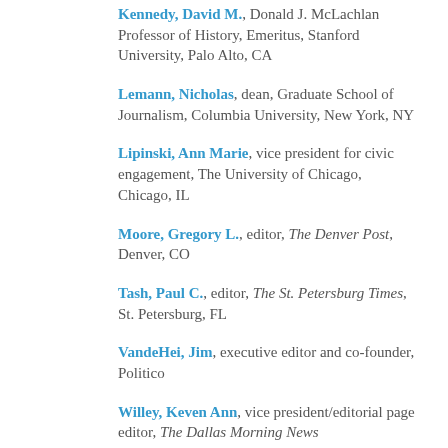Kennedy, David M., Donald J. McLachlan Professor of History, Emeritus, Stanford University, Palo Alto, CA
Lemann, Nicholas, dean, Graduate School of Journalism, Columbia University, New York, NY
Lipinski, Ann Marie, vice president for civic engagement, The University of Chicago, Chicago, IL
Moore, Gregory L., editor, The Denver Post, Denver, CO
Tash, Paul C., editor, The St. Petersburg Times, St. Petersburg, FL
VandeHei, Jim, executive editor and co-founder, Politico
Willey, Keven Ann, vice president/editorial page editor, The Dallas Morning News